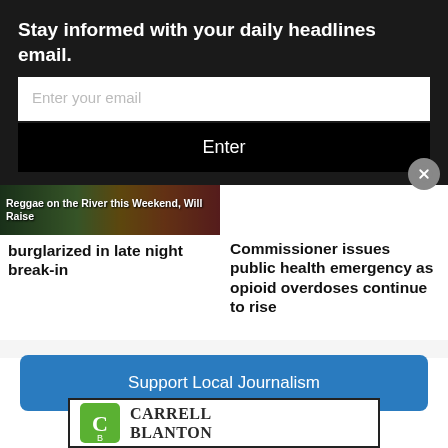Stay informed with your daily headlines email.
Enter your email
Enter
Reggae on the River this Weekend, Will Raise
burglarized in late night break-in
Commissioner issues public health emergency as opioid overdoses continue to rise
Support Local Journalism
[Figure (logo): Carrell Blanton logo with green C-shaped icon and serif text]